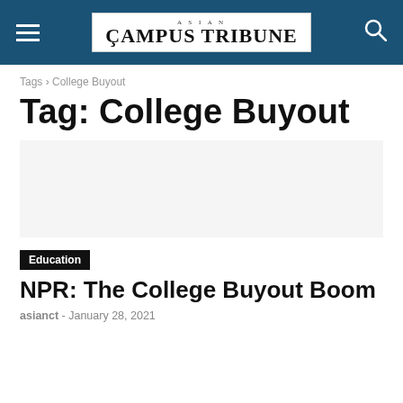ASIAN CAMPUS TRIBUNE
Tags › College Buyout
Tag: College Buyout
[Figure (other): Advertisement/blank space placeholder]
Education
NPR: The College Buyout Boom
asianct - January 28, 2021